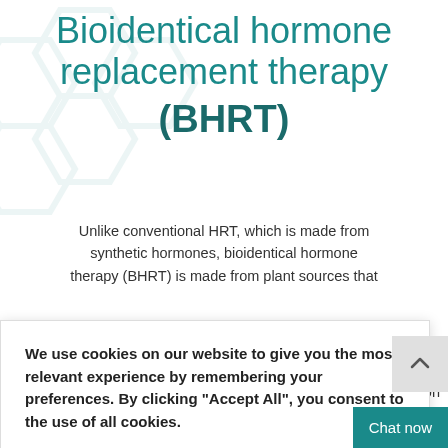Bioidentical hormone replacement therapy (BHRT)
Unlike conventional HRT, which is made from synthetic hormones, bioidentical hormone therapy (BHRT) is made from plant sources that [mirror your body naturally]. We utilise at [BioID to reduce the production of] [menopausal symptoms]
We use cookies on our website to give you the most relevant experience by remembering your preferences. By clicking “Accept All”, you consent to the use of all cookies.
ork?
BioID works by mirroring the production